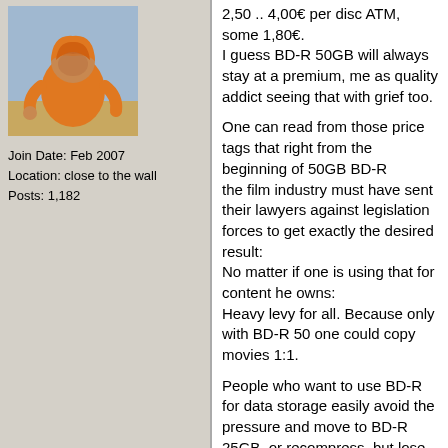[Figure (photo): User avatar photo showing a person wearing an orange hoodie]
Join Date: Feb 2007
Location: close to the wall
Posts: 1,182
2,50 .. 4,00€ per disc ATM, some 1,80€.
I guess BD-R 50GB will always stay at a premium, me as quality addict seeing that with grief too.

One can read from those price tags that right from the beginning of 50GB BD-R
the film industry must have sent their lawyers against legislation forces to get exactly the desired result:
No matter if one is using that for content he owns:
Heavy levy for all. Because only with BD-R 50 one could copy movies 1:1.

People who want to use BD-R for data storage easily avoid the pressure and move to BD-R 25GB, or recompress, but lose the 1:1 copy. And one who wants to deliver quality from his own material ?

To get BD-R 128 GB one has to order from Japan and get ridiculously priced (~16€ each, add shipping, add local VAT)
de-cartridged SONY blanks that could not be sold otherwise. And no